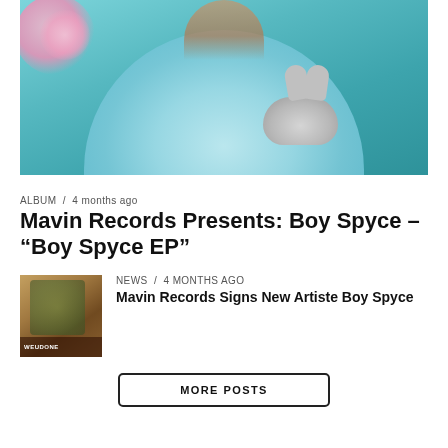[Figure (photo): Person wearing a light blue fluffy fur coat holding a grey rabbit, with pink flowers visible in the upper left, against a teal/blue-green background]
ALBUM / 4 months ago
Mavin Records Presents: Boy Spyce – “Boy Spyce EP”
[Figure (photo): Small thumbnail photo of a young person outdoors, with text overlay at bottom reading WEUDONE]
NEWS / 4 months ago
Mavin Records Signs New Artiste Boy Spyce
MORE POSTS